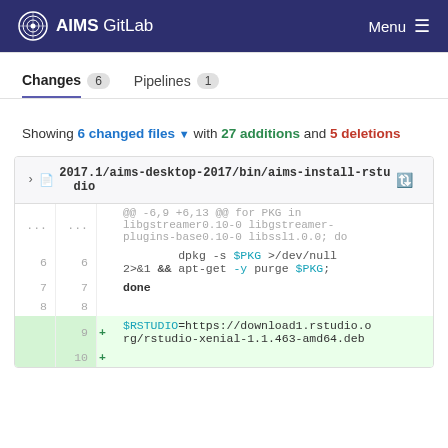AIMS GitLab   Menu
Changes 6   Pipelines 1
Showing 6 changed files ∨ with 27 additions and 5 deletions
2017.1/aims-desktop-2017/bin/aims-install-rstudio
| old ln | new ln | + | code |
| --- | --- | --- | --- |
| ... | ... |  | @@ -6,9 +6,13 @@ for PKG in libgstreamer0.10-0 libgstreamer-plugins-base0.10-0 libssl1.0.0; do |
| 6 | 6 |  |         dpkg -s $PKG >/dev/null 2>&1 && apt-get -y purge $PKG; |
| 7 | 7 |  | done |
| 8 | 8 |  |  |
|  | 9 | + | $RSTUDIO=https://download1.rstudio.org/rstudio-xenial-1.1.463-amd64.deb |
|  | 10 | + |  |